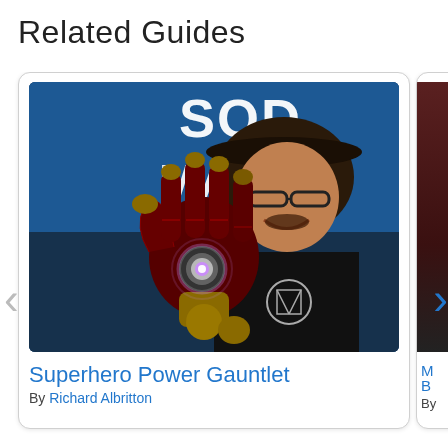Related Guides
[Figure (photo): A man wearing glasses and a flat cap smiling, holding up an Iron Man-style red and gold mechanical gauntlet with a glowing repulsor in the palm, in front of a blue backdrop with partial text 'SOD MAK'.]
Superhero Power Gauntlet
By Richard Albritton